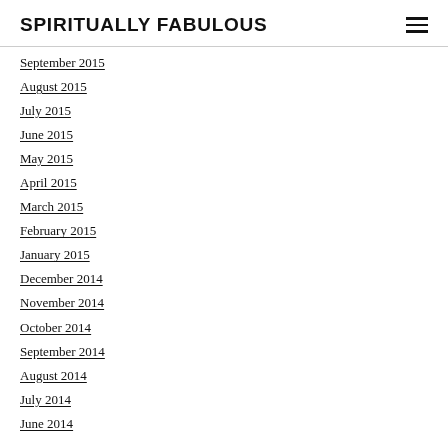SPIRITUALLY FABULOUS
September 2015
August 2015
July 2015
June 2015
May 2015
April 2015
March 2015
February 2015
January 2015
December 2014
November 2014
October 2014
September 2014
August 2014
July 2014
June 2014